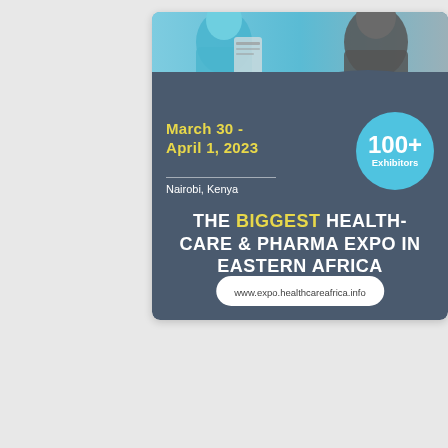[Figure (infographic): Healthcare and Pharma Expo advertisement banner. Dark blue-grey background with photo strip of healthcare workers at top. Yellow date text: March 30 - April 1, 2023. Location: Nairobi, Kenya. Teal circle showing 100+ Exhibitors. Main headline: THE BIGGEST HEALTHCARE & PHARMA EXPO IN EASTERN AFRICA. URL: www.expo.healthcareafrica.info]
[Figure (infographic): Second advertisement banner, partially visible. Yellow/golden background with white decorative arc lines and a circular logo at lower left.]